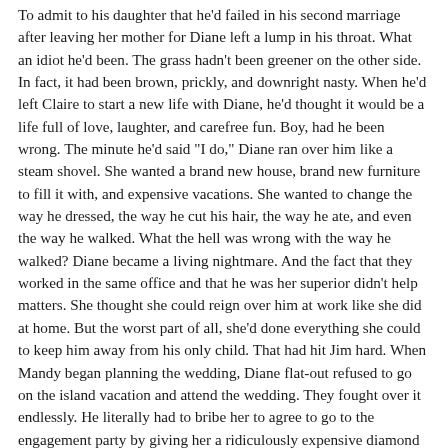To admit to his daughter that he'd failed in his second marriage after leaving her mother for Diane left a lump in his throat. What an idiot he'd been. The grass hadn't been greener on the other side. In fact, it had been brown, prickly, and downright nasty. When he'd left Claire to start a new life with Diane, he'd thought it would be a life full of love, laughter, and carefree fun. Boy, had he been wrong. The minute he'd said "I do," Diane ran over him like a steam shovel. She wanted a brand new house, brand new furniture to fill it with, and expensive vacations. She wanted to change the way he dressed, the way he cut his hair, the way he ate, and even the way he walked. What the hell was wrong with the way he walked? Diane became a living nightmare. And the fact that they worked in the same office and that he was her superior didn't help matters. She thought she could reign over him at work like she did at home. But the worst part of all, she'd done everything she could to keep him away from his only child. That had hit Jim hard. When Mandy began planning the wedding, Diane flat-out refused to go on the island vacation and attend the wedding. They fought over it endlessly. He literally had to bribe her to agree to go to the engagement party by giving her a ridiculously expensive diamond necklace. It was all too much for Jim. When Diane